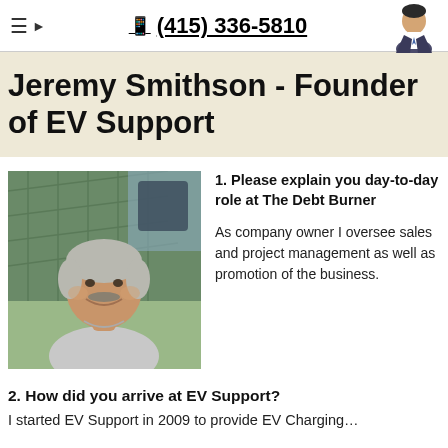≡  (415) 336-5810
Jeremy Smithson - Founder of EV Support
[Figure (photo): Photo of Jeremy Smithson, a middle-aged man with gray hair and mustache, smiling, outdoors near solar panels]
1. Please explain you day-to-day role at The Debt Burner
As company owner I oversee sales and project management as well as promotion of the business.
2. How did you arrive at EV Support?
I started EV Support in 2009 to provide EV Charging...